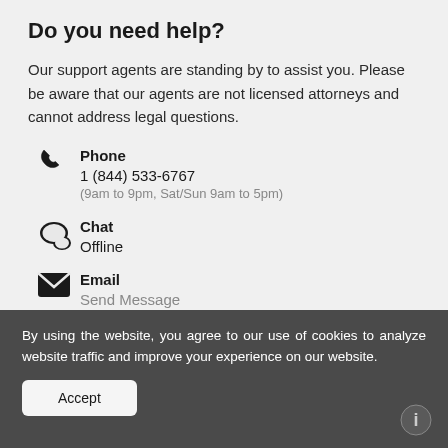Do you need help?
Our support agents are standing by to assist you. Please be aware that our agents are not licensed attorneys and cannot address legal questions.
Phone
1 (844) 533-6767
(9am to 9pm, Sat/Sun 9am to 5pm)
Chat
Offline
Email
Send Message
By using the website, you agree to our use of cookies to analyze website traffic and improve your experience on our website.